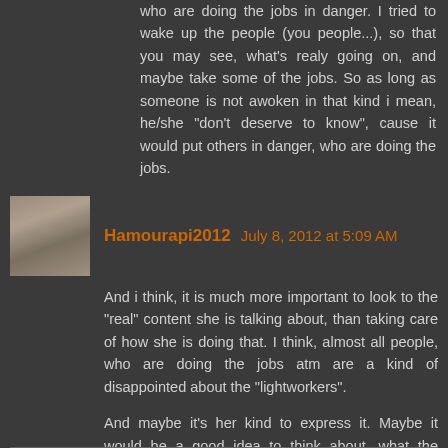who are doing the jobs in danger. I tried to wake up the people (you people...), so that you may see, what's realy going on, and maybe take some of the jobs. So as long as someone is not awoken in that kind i mean, he/she "don't deserve to know", cause it would put others in danger, who are doing the jobs.
Hamourapi2012  July 8, 2012 at 5:09 AM
And i think, it is much more important to look to the "real" content she is talking about, than taking care of how she is doing that. I think, almost all people, who are doing the jobs atm are a kind of disappointed about the "lightworkers".
And maybe it's her kind to express it. Maybe it would be a good idea to think about, what the lightworkers (i mean you all, if you are one!) had to do (or not to do), to bring her to a point, so that she has chosen this words?